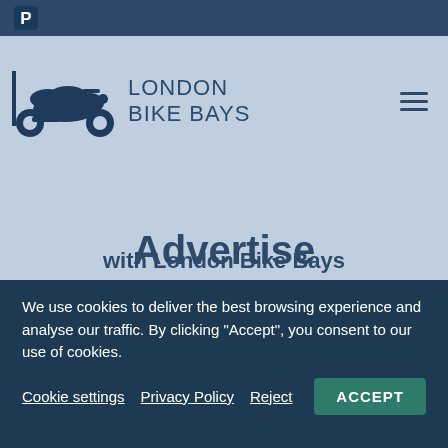[Figure (logo): London Bike Bays logo with motorcycle and parking icon]
Advertise
with London Bike Bays
London Bike Bays has one of the most
We use cookies to deliver the best browsing experience and analyse our traffic. By clicking "Accept", you consent to our use of cookies.
Cookie settings  Privacy Policy  Reject  ACCEPT